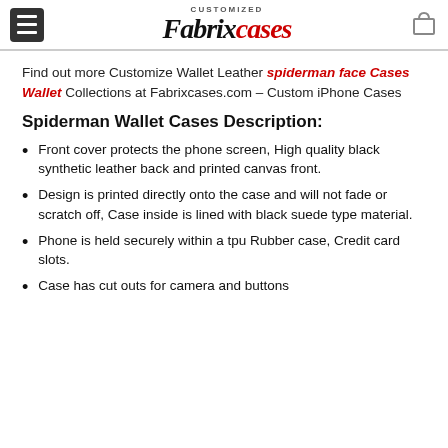CUSTOMIZED Fabrixcases
Find out more Customize Wallet Leather spiderman face Cases Wallet Collections at Fabrixcases.com – Custom iPhone Cases
Spiderman Wallet Cases Description:
Front cover protects the phone screen, High quality black synthetic leather back and printed canvas front.
Design is printed directly onto the case and will not fade or scratch off, Case inside is lined with black suede type material.
Phone is held securely within a tpu Rubber case, Credit card slots.
Case has cut outs for camera and buttons